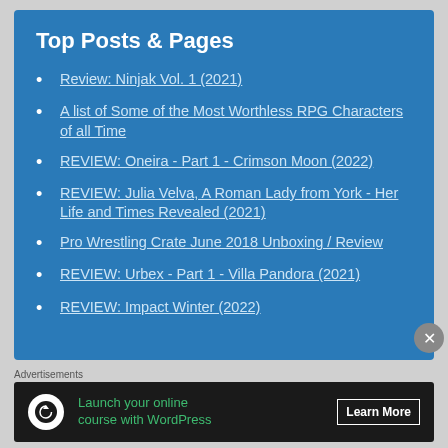Top Posts & Pages
Review: Ninjak Vol. 1 (2021)
A list of Some of the Most Worthless RPG Characters of all Time
REVIEW: Oneira - Part 1 - Crimson Moon (2022)
REVIEW: Julia Velva, A Roman Lady from York - Her Life and Times Revealed (2021)
Pro Wrestling Crate June 2018 Unboxing / Review
REVIEW: Urbex - Part 1 - Villa Pandora (2021)
REVIEW: Impact Winter (2022)
Advertisements
[Figure (infographic): Advertisement banner: dark background with white circular icon, green text 'Launch your online course with WordPress', and a 'Learn More' button]